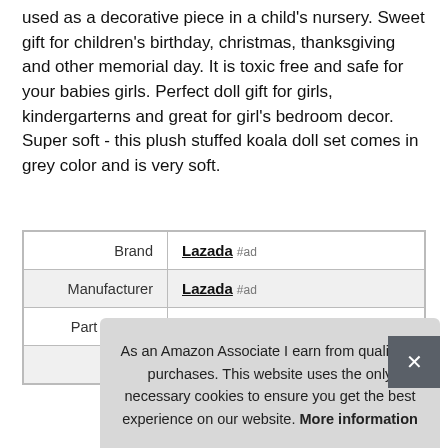... a wonderful gift - this plush stuffed koala toy but can also be used as a decorative piece in a child's nursery. Sweet gift for children's birthday, christmas, thanksgiving and other memorial day. It is toxic free and safe for your babies girls. Perfect doll gift for girls, kindergarterns and great for girl's bedroom decor. Super soft - this plush stuffed koala doll set comes in grey color and is very soft.
|  |  |
| --- | --- |
| Brand | Lazada #ad |
| Manufacturer | Lazada #ad |
| Part Number | A0470 |
| Model | A0470 |
As an Amazon Associate I earn from qualifying purchases. This website uses the only necessary cookies to ensure you get the best experience on our website. More information